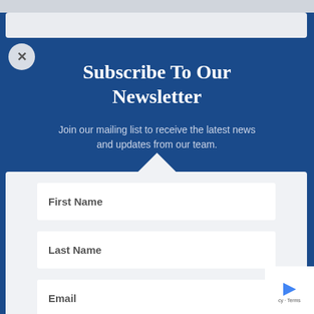Subscribe To Our Newsletter
Join our mailing list to receive the latest news and updates from our team.
First Name
Last Name
Email
SUBSCRIBE!